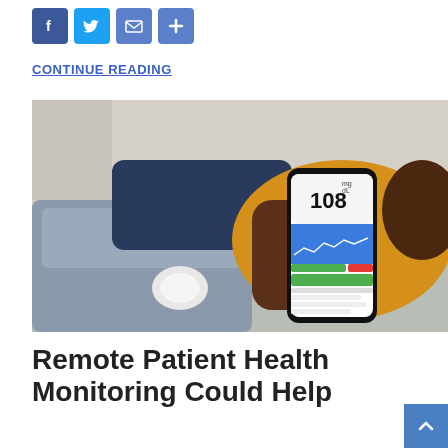[Figure (other): Social media share icons: Facebook (f), Twitter (bird), Email (envelope), Share (+) — all in blue rounded squares]
CONTINUE READING
[Figure (photo): A person sitting on a grey sofa, wearing a yellow top and jeans, holding a smartphone displaying a continuous glucose monitoring app showing a reading of 108. A circular CGM sensor patch is visible on the person's arm.]
Remote Patient Health Monitoring Could Help